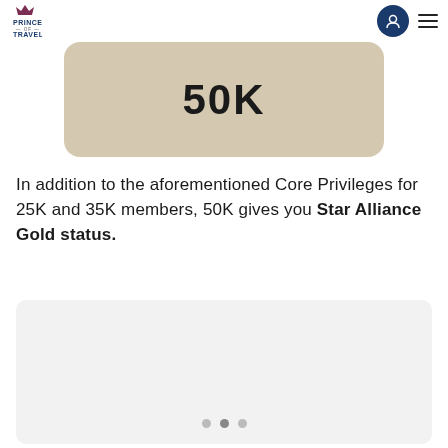Prince of Travel
[Figure (photo): Loyalty card with '50K' text displayed on a beige/tan rounded card]
In addition to the aforementioned Core Privileges for 25K and 35K members, 50K gives you Star Alliance Gold status.
[Figure (photo): Image carousel placeholder with three navigation dots at the bottom]